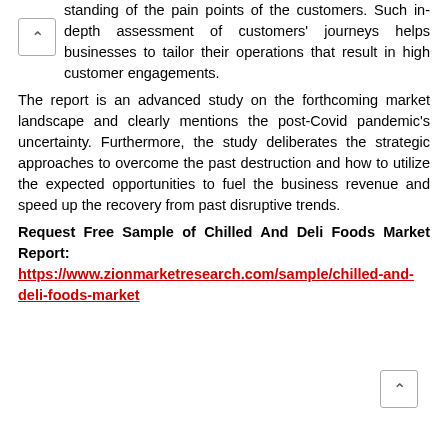standing of the pain points of the customers. Such in-depth assessment of customers' journeys helps businesses to tailor their operations that result in high customer engagements.
The report is an advanced study on the forthcoming market landscape and clearly mentions the post-Covid pandemic's uncertainty. Furthermore, the study deliberates the strategic approaches to overcome the past destruction and how to utilize the expected opportunities to fuel the business revenue and speed up the recovery from past disruptive trends.
Request Free Sample of Chilled And Deli Foods Market Report: https://www.zionmarketresearch.com/sample/chilled-and-deli-foods-market